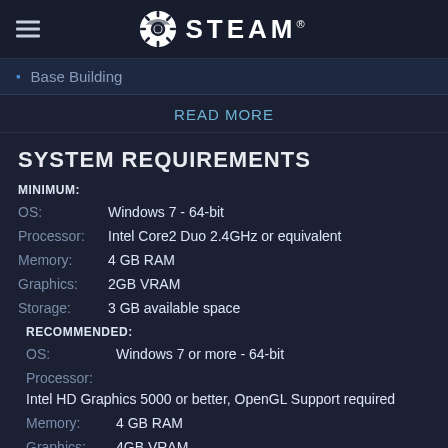STEAM
Base Building
READ MORE
SYSTEM REQUIREMENTS
MINIMUM:
OS:  Windows 7 - 64-bit
Processor:  Intel Core2 Duo 2.4GHz or equivalent
Memory:  4 GB RAM
Graphics:  2GB VRAM
Storage:  3 GB available space
RECOMMENDED:
OS:  Windows 7 or more - 64-bit
Processor:  Intel HD Graphics 5000 or better, OpenGL Support required
Memory:  4 GB RAM
Graphics:  4GB VRAM
Storage:  3 GB available space